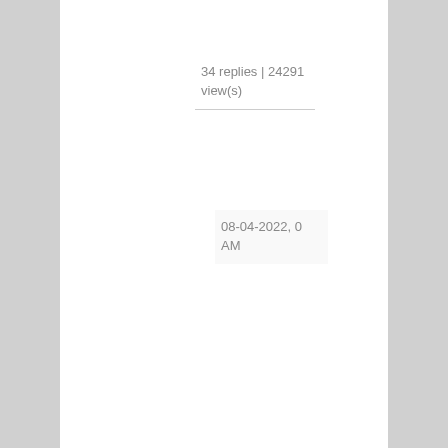34 replies | 24291 view(s)
08-04-2022, 0 AM